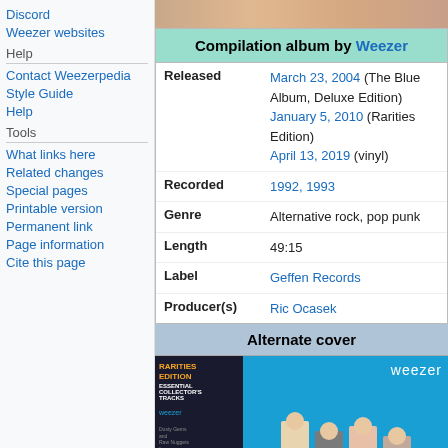Discord
Weezer websites
Help
Contact Weezerpedia
Style Guide
Help
Tools
What links here
Related changes
Special pages
Printable version
Permanent link
Page information
Cite this page
[Figure (photo): Top portion of Weezer band photo]
| Field | Value |
| --- | --- |
| Compilation album by Weezer |  |
| Released | March 23, 2004 (The Blue Album, Deluxe Edition)
January 5, 2010 (Rarities Edition)
April 13, 2019 (vinyl) |
| Recorded | 1992, 1993 |
| Genre | Alternative rock, pop punk |
| Length | 49:15 |
| Label | Geffen Records |
| Producer(s) | Ric Ocasek |
Alternate cover
[Figure (photo): Weezer Rarities Edition alternate cover art showing band members on blue background with RARITIES EDITION ESSENTIAL COLLECTOR'S TRACKS text on dark left panel]